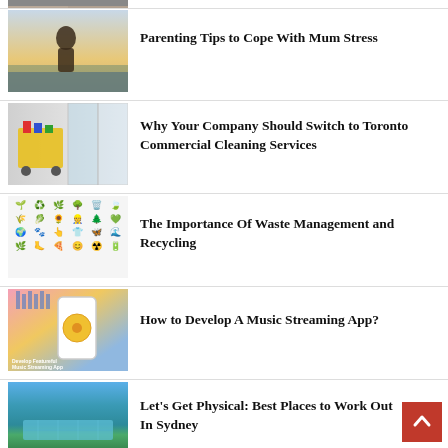[Figure (photo): Partial image visible at top of page — cropped]
Parenting Tips to Cope With Mum Stress
[Figure (photo): Woman viewed from behind looking at the ocean]
Why Your Company Should Switch to Toronto Commercial Cleaning Services
[Figure (photo): Cleaning supplies cart near glass doors]
The Importance Of Waste Management and Recycling
[Figure (illustration): Grid of ecology and waste-related emojis]
How to Develop A Music Streaming App?
[Figure (screenshot): Colorful graphic showing a music streaming app mockup]
Let's Get Physical: Best Places to Work Out In Sydney
[Figure (photo): Aerial view of Sydney coastal swimming pool]